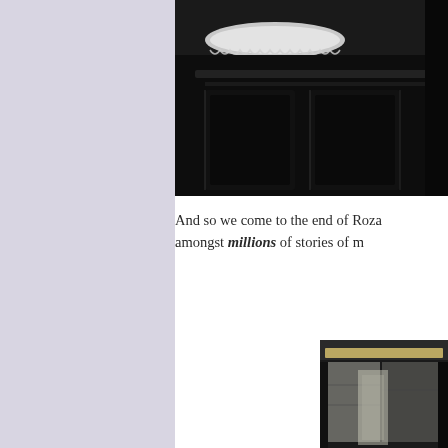[Figure (photo): Black and white photo of an ornate dark wooden cabinet or wardrobe top with lace doily on top, photographed from below looking up]
And so we come to the end of Roza… amongst millions of stories of m…
[Figure (photo): Black and white photo of what appears to be a person or figure near furniture or books]